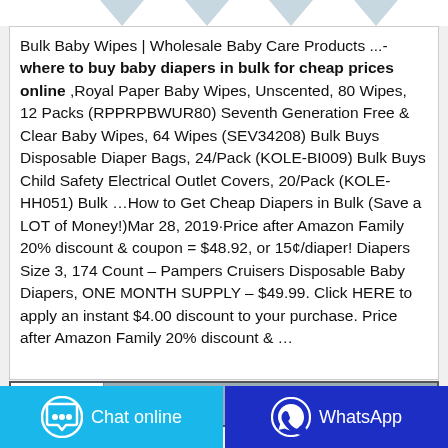[Figure (other): Four downward-pointing chevron/arrow decorations at the top of the page]
Bulk Baby Wipes | Wholesale Baby Care Products ...- where to buy baby diapers in bulk for cheap prices online ,Royal Paper Baby Wipes, Unscented, 80 Wipes, 12 Packs (RPPRPBWUR80) Seventh Generation Free & Clear Baby Wipes, 64 Wipes (SEV34208) Bulk Buys Disposable Diaper Bags, 24/Pack (KOLE-BI009) Bulk Buys Child Safety Electrical Outlet Covers, 20/Pack (KOLE-HH051) Bulk …How to Get Cheap Diapers in Bulk (Save a LOT of Money!)Mar 28, 2019·Price after Amazon Family 20% discount & coupon = $48.92, or 15¢/diaper! Diapers Size 3, 174 Count – Pampers Cruisers Disposable Baby Diapers, ONE MONTH SUPPLY – $49.99. Click HERE to apply an instant $4.00 discount to your purchase. Price after Amazon Family 20% discount & …
[Figure (screenshot): Partial UI element: a bordered box with a white left section and a grey right section, partially visible at the bottom of the content area]
[Figure (other): Two bottom navigation buttons: 'Chat online' (cyan/blue background with chat bubble icon) and 'WhatsApp' (dark blue background with WhatsApp icon)]